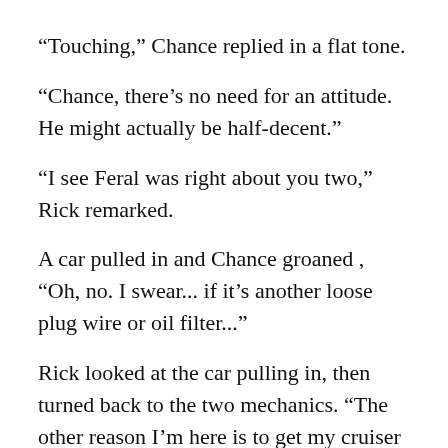“Touching,” Chance replied in a flat tone.
“Chance, there’s no need for an attitude. He might actually be half-decent.”
“I see Feral was right about you two,” Rick remarked.
A car pulled in and Chance groaned , “Oh, no. I swear... if it’s another loose plug wire or oil filter...”
Rick looked at the car pulling in, then turned back to the two mechanics. “The other reason I’m here is to get my cruiser checked out. It makes a noise, almost like a diesel.” Callie got out and walked up as he continued, “Feral tells me you do all the work for the cruisers.”